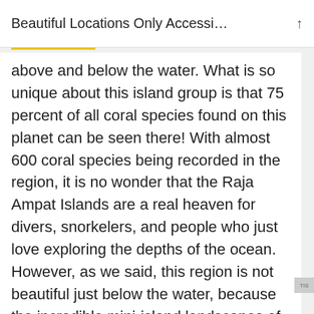Beautiful Locations Only Accessi…
above and below the water. What is so unique about this island group is that 75 percent of all coral species found on this planet can be seen there! With almost 600 coral species being recorded in the region, it is no wonder that the Raja Ampat Islands are a real heaven for divers, snorkelers, and people who just love exploring the depths of the ocean. However, as we said, this region is not beautiful just below the water, because the incredible mini-island landscapes of Wayag and Piaynemo, jutting out from the turquoise sea, is another view that captures your soul and leaves you